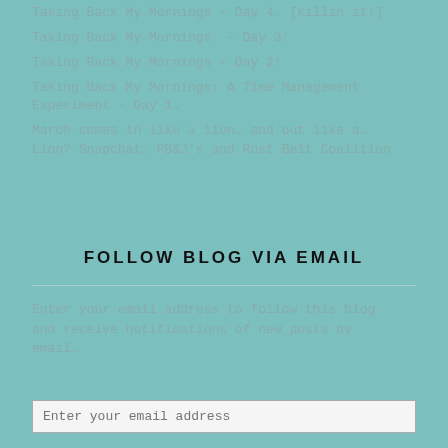Taking Back My Mornings – Day 4. [killin it!]
Taking Back My Mornings  – Day 3!
Taking Back My Mornings – Day 2!
Taking Back My Mornings: A Time Management Experiment – Day 1.
March comes in like a lion… and out like a… Lion? Snapchat, PB&J's and Rust Belt Coalition
FOLLOW BLOG VIA EMAIL
Enter your email address to follow this blog and receive notifications of new posts by email.
Enter your email address